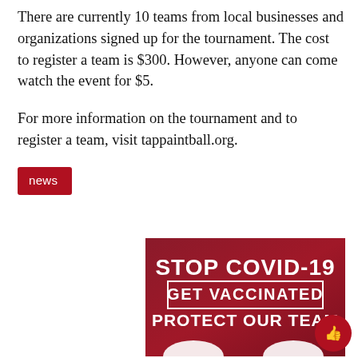There are currently 10 teams from local businesses and organizations signed up for the tournament. The cost to register a team is $300. However, anyone can come watch the event for $5.
For more information on the tournament and to register a team, visit tappaintball.org.
news
[Figure (infographic): Dark red/maroon advertisement banner with bold white text reading 'STOP COVID-19', 'GET VACCINATED' in a box, and 'PROTECT OUR TEAM'. A circular thumbs-up button appears in the bottom right corner.]